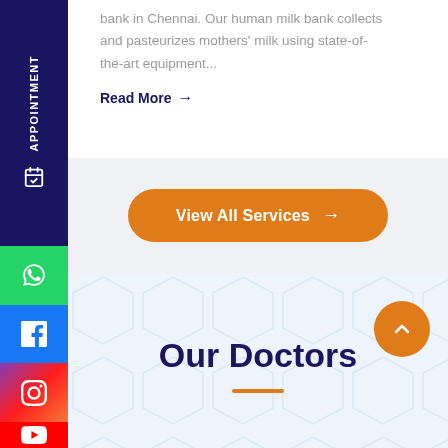bank in Chennai. Our human milk bank collects and pasteurizes mothers' milk using state-of-the-art equipment...
Read More →
View All Services →
Our Doctors